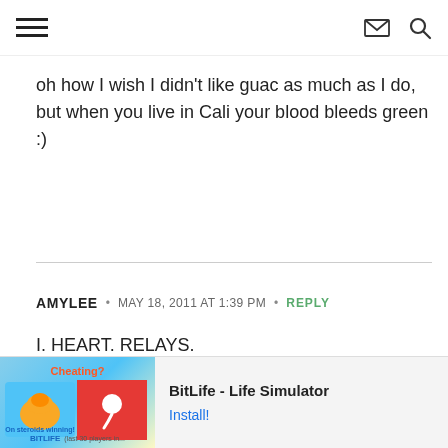Navigation header with hamburger menu, envelope icon, and search icon
oh how I wish I didn't like guac as much as I do, but when you live in Cali your blood bleeds green :)
AMYLEE • MAY 18, 2011 AT 1:39 PM • REPLY
I. HEART. RELAYS.
If I could, I would marry the Ragnar Relay.
It's the best because the race atmosphere lasts a lot
[Figure (screenshot): Advertisement banner for BitLife - Life Simulator app with install button]